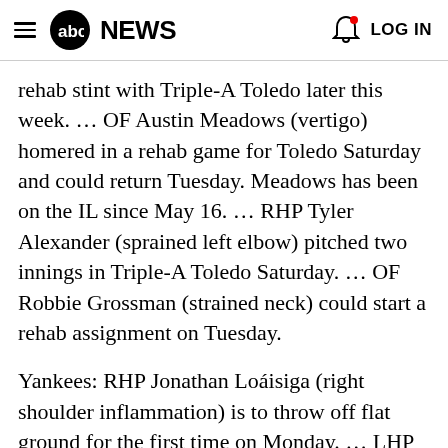abc NEWS  LOG IN
rehab stint with Triple-A Toledo later this week. … OF Austin Meadows (vertigo) homered in a rehab game for Toledo Saturday and could return Tuesday. Meadows has been on the IL since May 16. … RHP Tyler Alexander (sprained left elbow) pitched two innings in Triple-A Toledo Saturday. … OF Robbie Grossman (strained neck) could start a rehab assignment on Tuesday.
Yankees: RHP Jonathan Loáisiga (right shoulder inflammation) is to throw off flat ground for the first time on Monday. … LHP Zack Britton (elbow) threw his first bullpen session in Tampa, Florida, i…